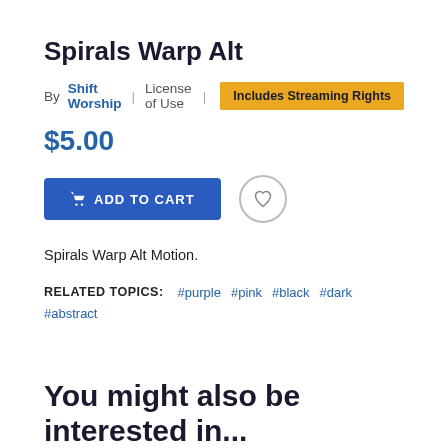Spirals Warp Alt
By Shift Worship | License of Use | Includes Streaming Rights
$5.00
ADD TO CART
Spirals Warp Alt Motion.
RELATED TOPICS: #purple #pink #black #dark #abstract
You might also be interested in...